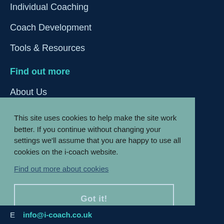Individual Coaching
Coach Development
Tools & Resources
Find out more
About Us
Our Services
This site uses cookies to help make the site work better. If you continue without changing your settings we'll assume that you are happy to use all cookies on the i-coach website.
Find out more about cookies
Got it!
E  info@i-coach.co.uk